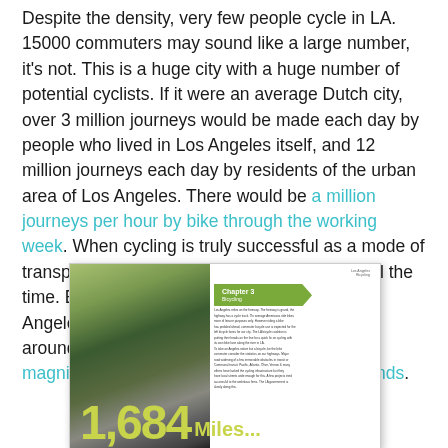Despite the density, very few people cycle in LA. 15000 commuters may sound like a large number, it's not. This is a huge city with a huge number of potential cyclists. If it were an average Dutch city, over 3 million journeys would be made each day by people who lived in Los Angeles itself, and 12 million journeys each day by residents of the urban area of Los Angeles. There would be a million journeys per hour by bike through the working week. When cycling is truly successful as a mode of transport, it is something done by everyone, all the time. Even though cycling has grown in Los Angeles, the result is a cycling modal share of around 0.3% of journeys. This is orders of magnitude lower than average in the Netherlands.
[Figure (photo): A thumbnail image of a book page showing Chapter 3 Bicycling, with a photo of a street scene with cars and vegetation, and a large yellow-green number '1,684 Miles...' at the bottom of the page.]